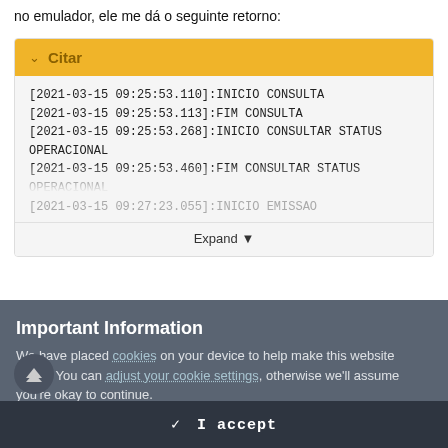no emulador, ele me dá o seguinte retorno:
[Figure (screenshot): A collapsible code block with a yellow header labeled 'Citar' (cite), containing monospace log output lines with timestamps and status messages, and an 'Expand' button at the bottom.]
Important Information
We have placed cookies on your device to help make this website better. You can adjust your cookie settings, otherwise we'll assume you're okay to continue.
✓  I accept